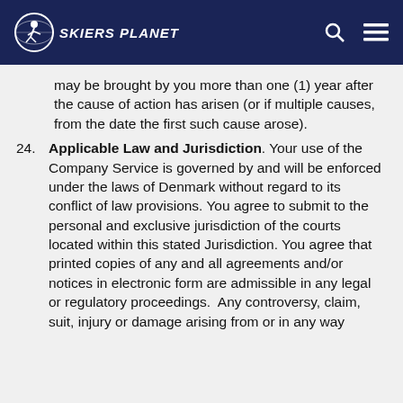SKIERS PLANET
may be brought by you more than one (1) year after the cause of action has arisen (or if multiple causes, from the date the first such cause arose).
24. Applicable Law and Jurisdiction. Your use of the Company Service is governed by and will be enforced under the laws of Denmark without regard to its conflict of law provisions. You agree to submit to the personal and exclusive jurisdiction of the courts located within this stated Jurisdiction. You agree that printed copies of any and all agreements and/or notices in electronic form are admissible in any legal or regulatory proceedings. Any controversy, claim, suit, injury or damage arising from or in any way